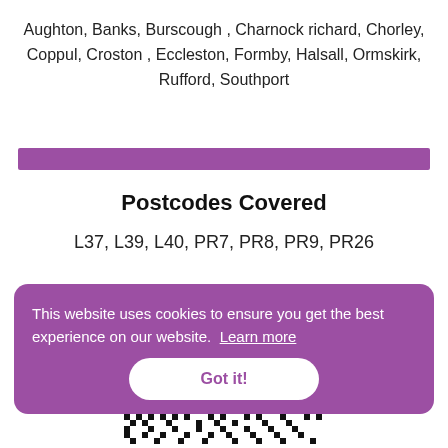Aughton, Banks, Burscough , Charnock richard, Chorley, Coppul, Croston , Eccleston, Formby, Halsall, Ormskirk, Rufford, Southport
Postcodes Covered
L37, L39, L40, PR7, PR8, PR9, PR26
This website uses cookies to ensure you get the best experience on our website. Learn more
Got it!